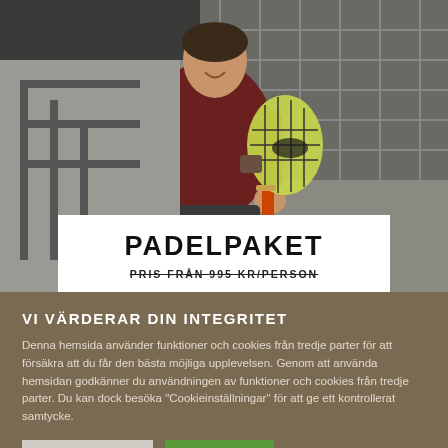[Figure (photo): Man in dark red shirt holding a padel racket in an indoor court setting]
PADELPAKET
PRIS FRÅN 995 KR/PERSON
VI VÄRDERAR DIN INTEGRITET
Denna hemsida använder funktioner och cookies från tredje parter för att försäkra att du får den bästa möjliga upplevelsen. Genom att använda hemsidan godkänner du användningen av funktioner och cookies från tredje parter. Du kan dock besöka "Cookieinställningar" för att ge ett kontrollerat samtycke.
Cookie Settings | Jag forstår